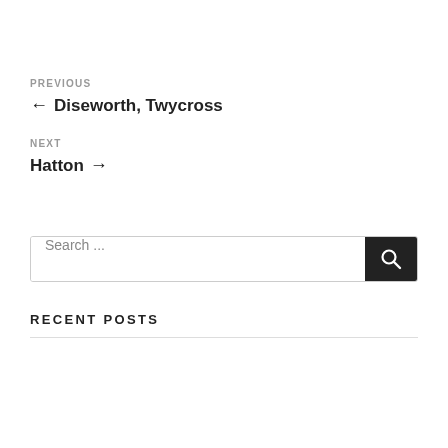PREVIOUS
← Diseworth, Twycross
NEXT
Hatton →
Search ...
RECENT POSTS